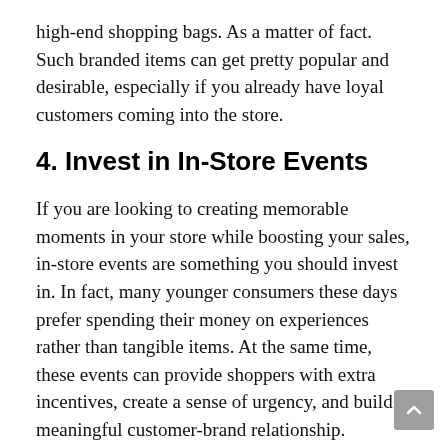high-end shopping bags. As a matter of fact. Such branded items can get pretty popular and desirable, especially if you already have loyal customers coming into the store.
4. Invest in In-Store Events
If you are looking to creating memorable moments in your store while boosting your sales, in-store events are something you should invest in. In fact, many younger consumers these days prefer spending their money on experiences rather than tangible items. At the same time, these events can provide shoppers with extra incentives, create a sense of urgency, and build a meaningful customer-brand relationship.
Some types of brand-activation events that you can organize and host are pool parties, pop-up dining